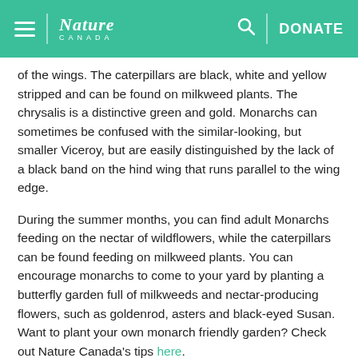Nature Canada — DONATE
of the wings. The caterpillars are black, white and yellow stripped and can be found on milkweed plants. The chrysalis is a distinctive green and gold. Monarchs can sometimes be confused with the similar-looking, but smaller Viceroy, but are easily distinguished by the lack of a black band on the hind wing that runs parallel to the wing edge.
During the summer months, you can find adult Monarchs feeding on the nectar of wildflowers, while the caterpillars can be found feeding on milkweed plants. You can encourage monarchs to come to your yard by planting a butterfly garden full of milkweeds and nectar-producing flowers, such as goldenrod, asters and black-eyed Susan. Want to plant your own monarch friendly garden? Check out Nature Canada's tips here.
Monarchs have been